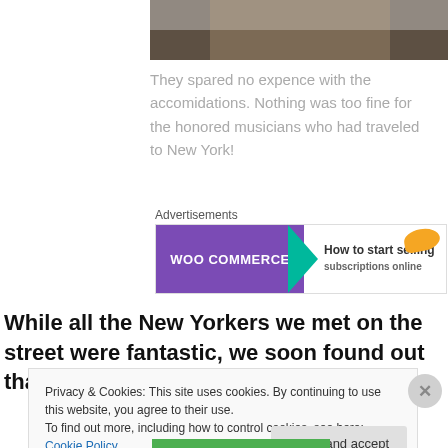[Figure (photo): Partial photo of a person, cropped at top of page]
They spared no expence with the accomidations. Nothing was too fine for the honored musicians who had traveled to New York!
Advertisements
[Figure (other): WooCommerce advertisement banner: 'How to start selling subscriptions online']
While all the New Yorkers we met on the street were fantastic, we soon found out that most of the 1200 bands
Privacy & Cookies: This site uses cookies. By continuing to use this website, you agree to their use.
To find out more, including how to control cookies, see here: Cookie Policy
Close and accept